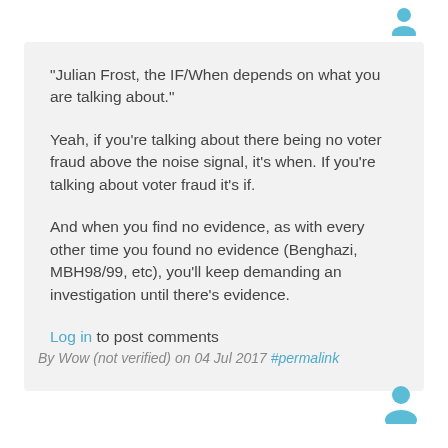[Figure (illustration): Blue user avatar icon at top right]
"Julian Frost, the IF/When depends on what you are talking about."

Yeah, if you're talking about there being no voter fraud above the noise signal, it's when. If you're talking about voter fraud it's if.

And when you find no evidence, as with every other time you found no evidence (Benghazi, MBH98/99, etc), you'll keep demanding an investigation until there's evidence.

Log in to post comments
By Wow (not verified) on 04 Jul 2017 #permalink
[Figure (illustration): Blue user avatar icon at bottom right]